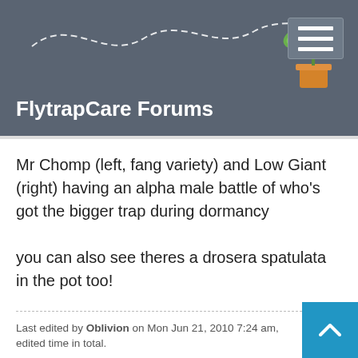FlytrapCare Forums
Mr Chomp (left, fang variety) and Low Giant (right) having an alpha male battle of who's got the bigger trap during dormancy

you can also see theres a drosera spatulata in the pot too!
[Figure (other): Three dots image carousel indicator — two larger orange dots and one smaller orange dot]
Last edited by Oblivion on Mon Jun 21, 2010 7:24 am, edited time in total.